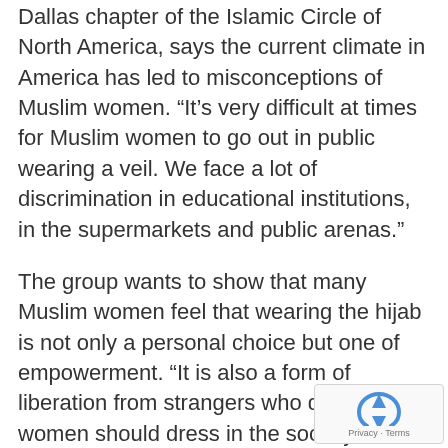Dallas chapter of the Islamic Circle of North America, says the current climate in America has led to misconceptions of Muslim women. “It’s very difficult at times for Muslim women to go out in public wearing a veil. We face a lot of discrimination in educational institutions, in the supermarkets and public arenas.”
The group wants to show that many Muslim women feel that wearing the hijab is not only a personal choice but one of empowerment. “It is also a form of liberation from strangers who dictate how women should dress in the society to be successful,” says Ms. Sadiq. “It’s to free us ourselves from being judged by our physical beauty, but rather our intellect and our character.”